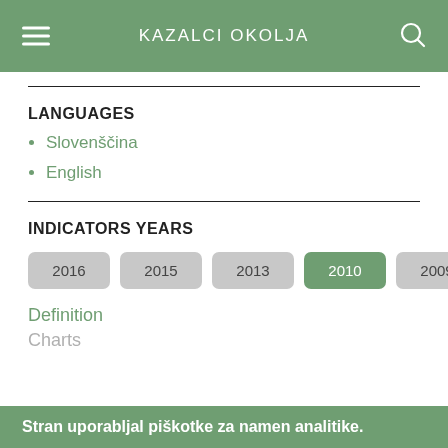KAZALCI OKOLJA
LANGUAGES
Slovenščina
English
INDICATORS YEARS
2016  2015  2013  2010  2009  2007
Definition
Charts
Stran uporabljal piškotke za namen analitike.